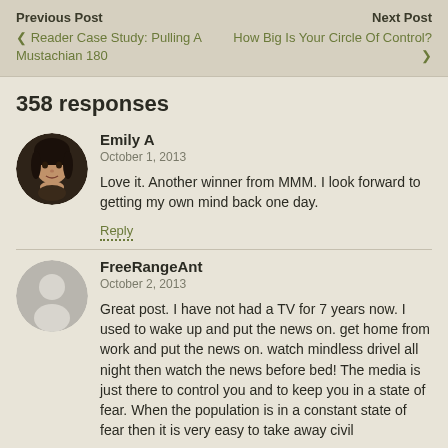Previous Post | Next Post
❮ Reader Case Study: Pulling A Mustachian 180
How Big Is Your Circle Of Control? ❯
358 responses
Emily A
October 1, 2013
Love it. Another winner from MMM. I look forward to getting my own mind back one day.
Reply
FreeRangeAnt
October 2, 2013
Great post. I have not had a TV for 7 years now. I used to wake up and put the news on. get home from work and put the news on. watch mindless drivel all night then watch the news before bed! The media is just there to control you and to keep you in a state of fear. When the population is in a constant state of fear then it is very easy to take away civil liberties with the government...